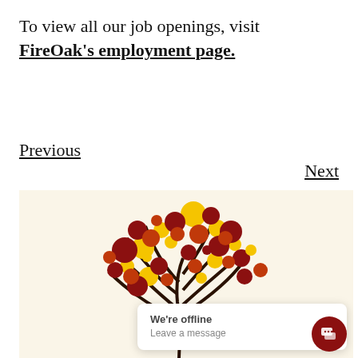To view all our job openings, visit FireOak's employment page.
Previous
Next
[Figure (illustration): Stylized autumn tree illustration made of colorful circles (red, dark red, yellow/gold) on branches against a cream/beige background, with a chat popup overlay showing 'We're offline / Leave a message' and a dark red circular chat icon.]